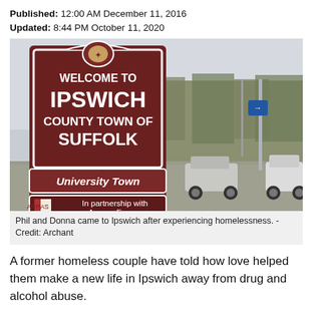Published: 12:00 AM December 11, 2016
Updated: 8:44 PM October 11, 2020
[Figure (photo): Welcome to Ipswich County Town of Suffolk sign with University Town and In partnership with Arras - France panels, cars and trees in background]
Phil and Donna came to Ipswich after experiencing homelessness. - Credit: Archant
A former homeless couple have told how love helped them make a new life in Ipswich away from drug and alcohol abuse.